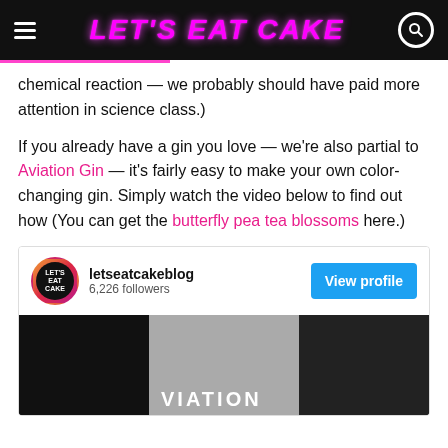LET'S EAT CAKE
chemical reaction — we probably should have paid more attention in science class.)
If you already have a gin you love — we're also partial to Aviation Gin — it's fairly easy to make your own color-changing gin. Simply watch the video below to find out how (You can get the butterfly pea tea blossoms here.)
[Figure (screenshot): Instagram embed card for letseatcakeblog with 6,226 followers, a View profile button, and a video thumbnail showing an Aviation Gin bottle.]